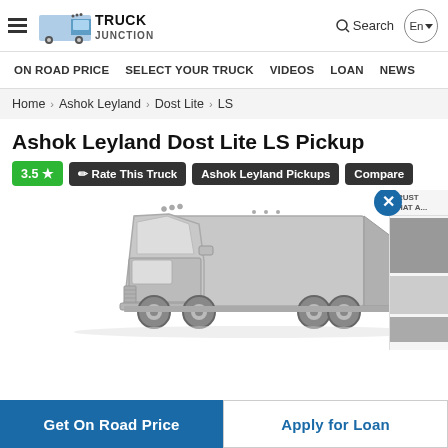Truck Junction — Search | En
ON ROAD PRICE | SELECT YOUR TRUCK | VIDEOS | LOAN | NEWS
Home > Ashok Leyland > Dost Lite > LS
Ashok Leyland Dost Lite LS Pickup
3.5 ★   ✏ Rate This Truck   Ashok Leyland Pickups   Compare
[Figure (illustration): Grey line-art illustration of the Ashok Leyland Dost Lite LS Pickup truck, side view, on white background]
Get On Road Price   Apply for Loan